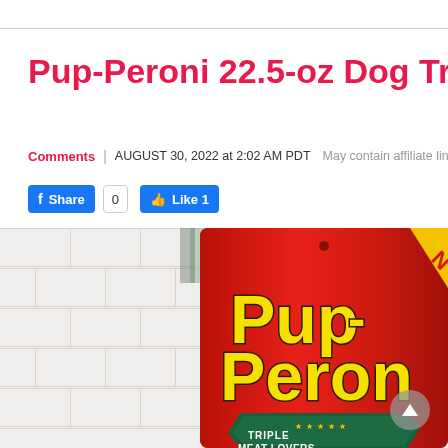Pup-Peroni 22.5-oz Dog Treats
Comments | AUGUST 30, 2022 at 2:02 AM PDT   May contain affiliate links. Rea…
Share  0   Like 1
[Figure (photo): Close-up photo of a Pup-Peroni 22.5-oz Triple Meat Lovers Flavor dog treats red bag, with white subway tile wall in the background.]